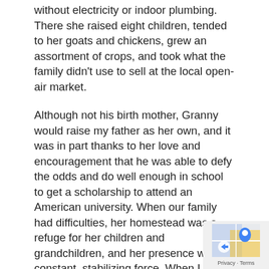without electricity or indoor plumbing. There she raised eight children, tended to her goats and chickens, grew an assortment of crops, and took what the family didn't use to sell at the local open-air market.
Although not his birth mother, Granny would raise my father as her own, and it was in part thanks to her love and encouragement that he was able to defy the odds and do well enough in school to get a scholarship to attend an American university. When our family had difficulties, her homestead was a refuge for her children and grandchildren, and her presence was a constant, stabilizing force. When I first traveled to Kenya to learn more about my heritage and father, who had passed away by then, it was Granny who served as a bridge to the past, and it was her stories that helped fill a void in my heart.
During the course of her life, Granny would witness epochal changes taking place around the globe: world war, liberation movements, moon landings, and the advent
[Figure (other): Small Google Maps-style watermark/icon in bottom-right corner with a blue and yellow map pin icon and 'Privacy · Terms' text link.]